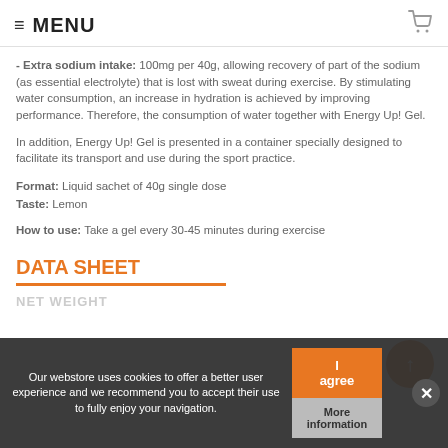≡ MENU
- Extra sodium intake: 100mg per 40g, allowing recovery of part of the sodium (as essential electrolyte) that is lost with sweat during exercise. By stimulating water consumption, an increase in hydration is achieved by improving performance. Therefore, the consumption of water together with Energy Up! Gel.
In addition, Energy Up! Gel is presented in a container specially designed to facilitate its transport and use during the sport practice.
Format: Liquid sachet of 40g single dose
Taste: Lemon
How to use: Take a gel every 30-45 minutes during exercise
DATA SHEET
NET WEIGHT
Our webstore uses cookies to offer a better user experience and we recommend you to accept their use to fully enjoy your navigation.